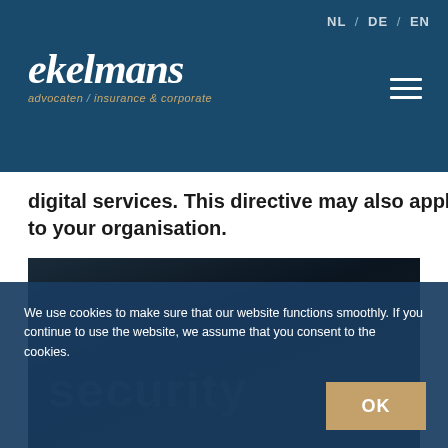NL / DE / EN
[Figure (logo): Ekelmans advocaten / insurance & corporate logo on dark blue header background]
digital services. This directive may also apply to your organisation.
[Figure (photo): Dark background digital/security themed image with text overlay 'security']
We use cookies to make sure that our website functions smoothly. If you continue to use the website, we assume that you consent to the cookies.